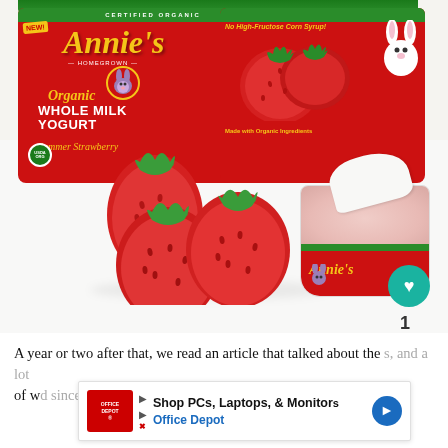[Figure (photo): Photo of Annie's Homegrown Organic Whole Milk Yogurt Summer Strawberry multi-pack box and an open individual yogurt cup, with three fresh strawberries on a white surface. The red packaging features Annie's branding, certified organic seal, and 'No High-Fructose Corn Syrup' text. A heart/like button (teal circle) and a share button are visible on the right side, with the number 1 between them.]
A year or two after that, we read an article that talked about the [AD OVERLAY] s, and a lot of w[AD OVERLAY] d since that